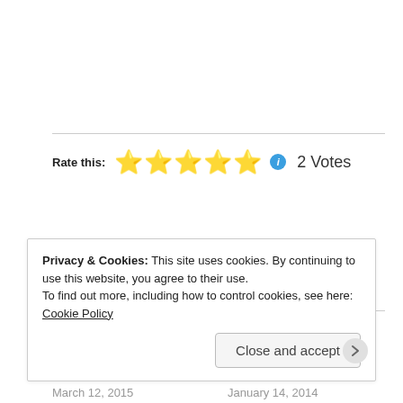Rate this: ★★★★★ ℹ 2 Votes
Related
Hiking, Dogs, and Fading Angels
March 12, 2015
In "Cuyahoga Valley National Park"
Becoming the Mother I Wanted
January 14, 2014
In "adult children"
Privacy & Cookies: This site uses cookies. By continuing to use this website, you agree to their use.
To find out more, including how to control cookies, see here: Cookie Policy
Close and accept